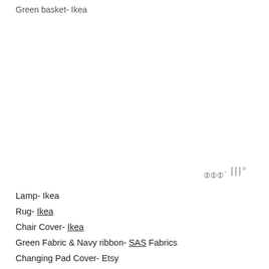Green basket- Ikea
[Figure (logo): Small logo watermark in gray, appears to be a brand mark with letters and a degree symbol]
Lamp- Ikea
Rug- Ikea
Chair Cover- Ikea
Green Fabric & Navy ribbon- SAS Fabrics
Changing Pad Cover- Etsy